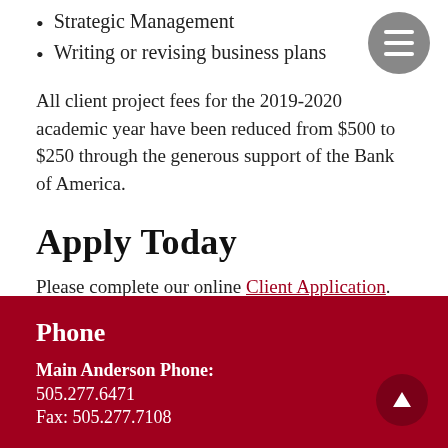Strategic Management
Writing or revising business plans
All client project fees for the 2019-2020 academic year have been reduced from $500 to $250 through the generous support of the Bank of America.
Apply Today
Please complete our online Client Application.
Phone
Main Anderson Phone:
505.277.6471
Fax: 505.277.7108